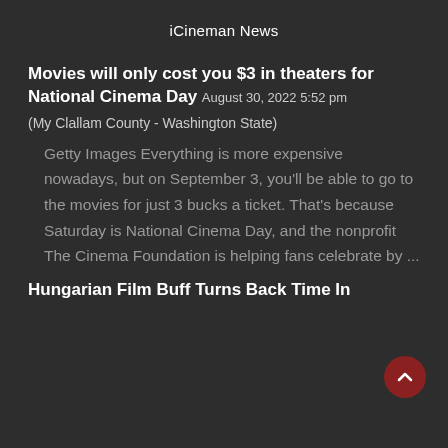iCineman News
Movies will only cost you $3 in theaters for National Cinema Day August 30, 2022 5:52 pm
(My Clallam County - Washington State)
Getty Images Everything is more expensive nowadays, but on September 3, you'll be able to go to the movies for just 3 bucks a ticket. That's because Saturday is National Cinema Day, and the nonprofit The Cinema Foundation is helping fans celebrate by ...
Hungarian Film Buff Turns Back Time In